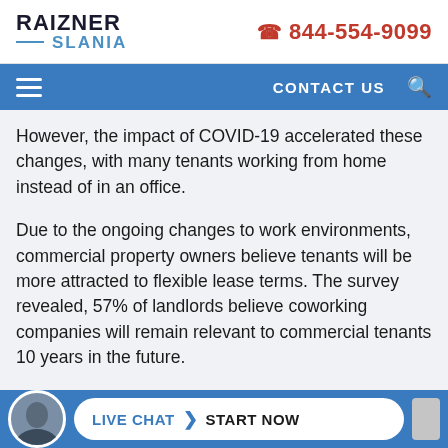RAIZNER SLANIA | 844-554-9099
CONTACT US
However, the impact of COVID-19 accelerated these changes, with many tenants working from home instead of in an office.
Due to the ongoing changes to work environments, commercial property owners believe tenants will be more attracted to flexible lease terms. The survey revealed, 57% of landlords believe coworking companies will remain relevant to commercial tenants 10 years in the future.
It's not only coworking spaces that provide flexible lease…